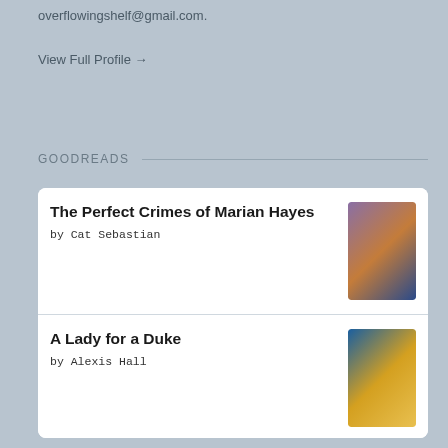overflowingshelf@gmail.com.
View Full Profile →
GOODREADS
The Perfect Crimes of Marian Hayes by Cat Sebastian
A Lady for a Duke by Alexis Hall
Duke I'd Like to F... by Sabrina Darby
Soulbound by Bec McMaster